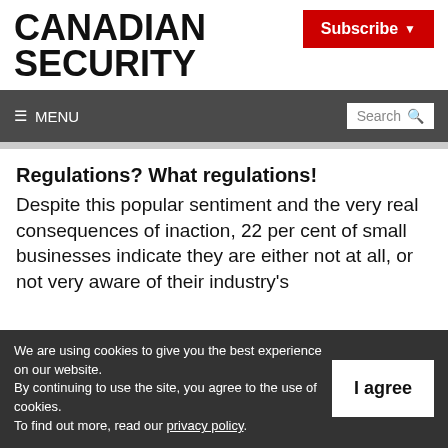CANADIAN SECURITY
Regulations? What regulations!
Despite this popular sentiment and the very real consequences of inaction, 22 per cent of small businesses indicate they are either not at all, or not very aware of their industry's
We are using cookies to give you the best experience on our website. By continuing to use the site, you agree to the use of cookies. To find out more, read our privacy policy.